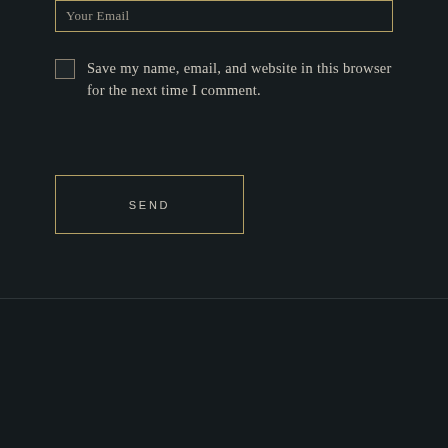Your Email
Save my name, email, and website in this browser for the next time I comment.
SEND
Anchor Beer Club
... Đường ... Khu Du Nữ...